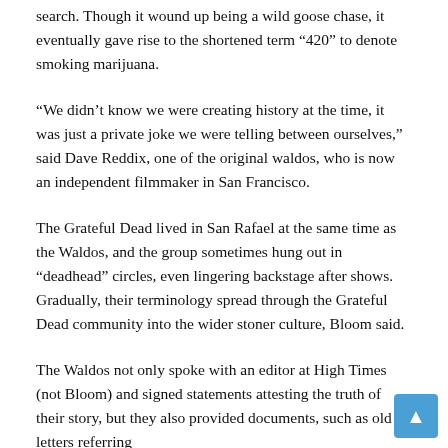search. Though it wound up being a wild goose chase, it eventually gave rise to the shortened term “420” to denote smoking marijuana.
“We didn’t know we were creating history at the time, it was just a private joke we were telling between ourselves,” said Dave Reddix, one of the original waldos, who is now an independent filmmaker in San Francisco.
The Grateful Dead lived in San Rafael at the same time as the Waldos, and the group sometimes hung out in “deadhead” circles, even lingering backstage after shows. Gradually, their terminology spread through the Grateful Dead community into the wider stoner culture, Bloom said.
The Waldos not only spoke with an editor at High Times (not Bloom) and signed statements attesting the truth of their story, but they also provided documents, such as old letters referring